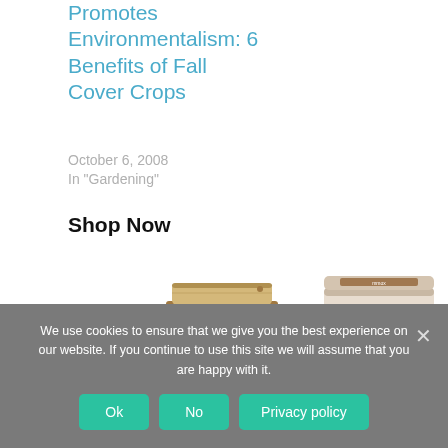Promotes Environmentalism: 6 Benefits of Fall Cover Crops
October 6, 2008
In "Gardening"
Shop Now
[Figure (photo): Stack of bamboo food storage containers with lids]
[Figure (photo): Metal bento box / lunch box with two tiers and a band]
We use cookies to ensure that we give you the best experience on our website. If you continue to use this site we will assume that you are happy with it.